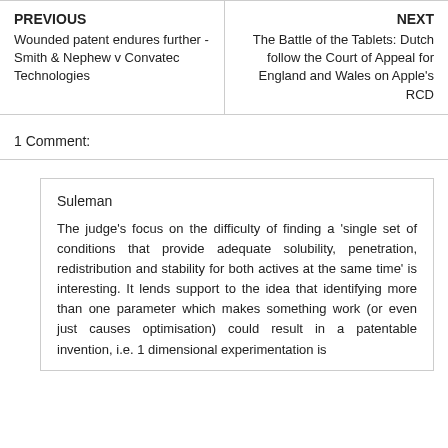| PREVIOUS | NEXT |
| --- | --- |
| Wounded patent endures further - Smith & Nephew v Convatec Technologies | The Battle of the Tablets: Dutch follow the Court of Appeal for England and Wales on Apple's RCD |
1 Comment:
Suleman
The judge's focus on the difficulty of finding a 'single set of conditions that provide adequate solubility, penetration, redistribution and stability for both actives at the same time' is interesting. It lends support to the idea that identifying more than one parameter which makes something work (or even just causes optimisation) could result in a patentable invention, i.e. 1 dimensional experimentation is